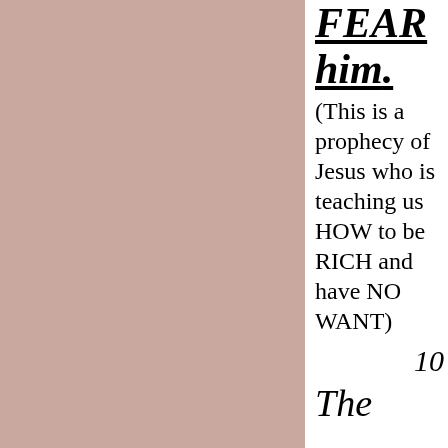FEAR him. (This is a prophecy of Jesus who is teaching us HOW to be RICH and have NO WANT) 10 The young lions do
10